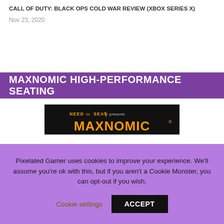CALL OF DUTY: BLACK OPS COLD WAR REVIEW (XBOX SERIES X)
Nov 23, 2020
MAXNOMIC HIGH-PERFORMANCE SEATING
[Figure (logo): NEEDforSEAT presents MAXNOMIC brand logo advertisement with text YOUR BUSINESS, YOUR LOGO on white/black background]
Pixelated Gamer uses cookies to improve your experience. We'll assume you're ok with this, but if you aren't a Cookie Monster, you can opt-out if you wish.